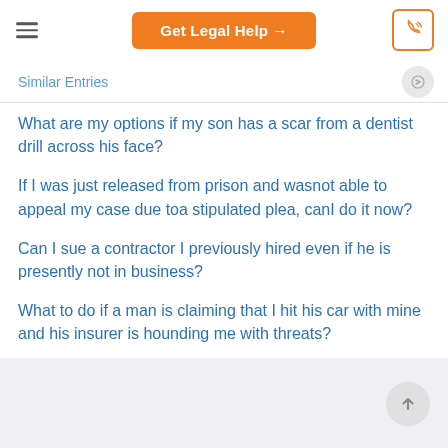Get Legal Help →
Similar Entries
What are my options if my son has a scar from a dentist drill across his face?
If I was just released from prison and wasnot able to appeal my case due toa stipulated plea, canI do it now?
Can I sue a contractor I previously hired even if he is presently not in business?
What to do if a man is claiming that I hit his car with mine and his insurer is hounding me with threats?